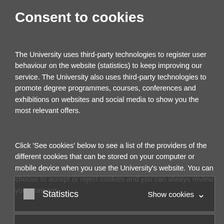Consent to cookies
The University uses third-party technologies to register user behaviour on the website (statistics) to keep improving our service. The University also uses third-party technologies to promote degree programmes, courses, conferences and exhibitions on websites and social media to show you the most relevant offers.
Click 'See cookies' below to see a list of the providers of the different cookies that can be stored on your computer or mobile device when you use the University's website. You can choose to accept or reject cookies and you can always review your consent:
Statistics   Show cookies
Marketing   Show cookies